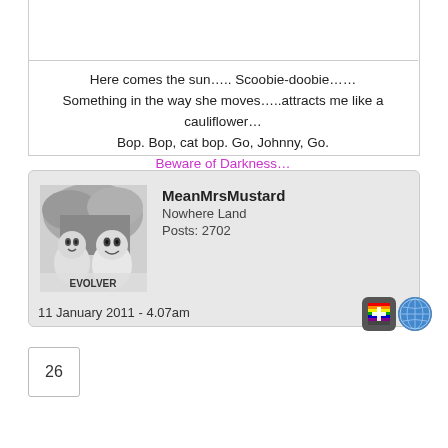Here comes the sun….. Scoobie-doobie……
Something in the way she moves…..attracts me like a cauliflower…
Bop. Bop, cat bop. Go, Johnny, Go.
Beware of Darkness…
[Figure (photo): Black and white album cover image labeled EVOLVER with illustrated characters]
MeanMrsMustard
Nowhere Land
Posts: 2702
11 January 2011 - 4.07am
26